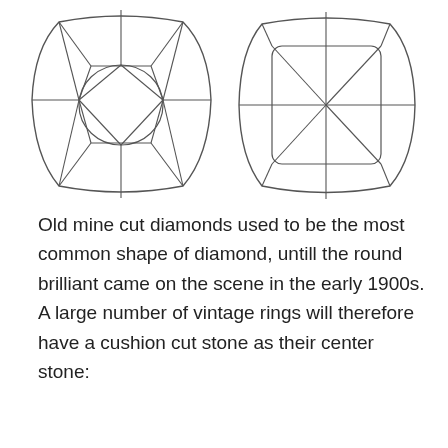[Figure (illustration): Two cushion cut diamond diagrams shown side by side — facet line drawings of old mine cut diamond shapes]
Old mine cut diamonds used to be the most common shape of diamond, untill the round brilliant came on the scene in the early 1900s. A large number of vintage rings will therefore have a cushion cut stone as their center stone: